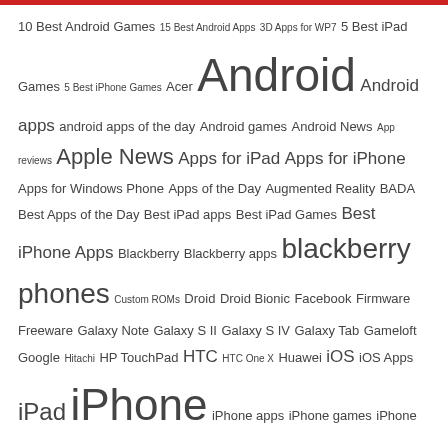[Figure (infographic): Tag cloud of mobile technology related keywords with varying font sizes indicating popularity/frequency. Tags include Android, iPhone, Mobile Applications, Nokia, Samsung, iPad, and many others.]